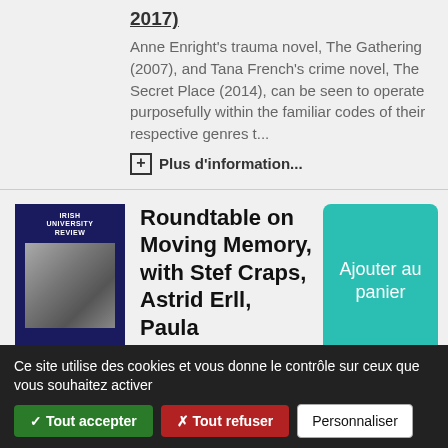2017)
Anne Enright's trauma novel, The Gathering (2007), and Tana French's crime novel, The Secret Place (2014), can be seen to operate purposefully within the familiar codes of their respective genres t...
Plus d'information...
[Figure (illustration): Book cover of Irish University Review journal, dark blue with title text and a grayscale image]
Article
Roundtable on Moving Memory, with Stef Craps, Astrid Erll, Paula McFetridge, Ann
Ajouter au panier
Ce site utilise des cookies et vous donne le contrôle sur ceux que vous souhaitez activer
✓ Tout accepter
✗ Tout refuser
Personnaliser